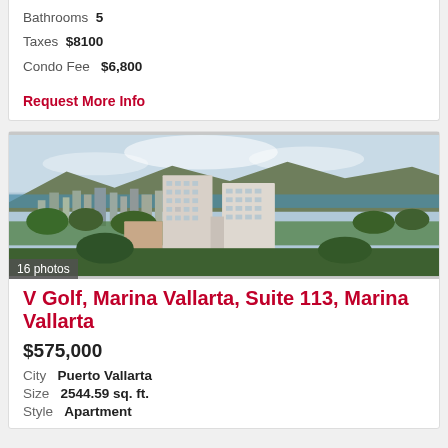Bathrooms  5
Taxes  $8100
Condo Fee  $6,800
Request More Info
[Figure (photo): Aerial view of marina vallarta condo buildings with city and ocean in background]
16 photos
V Golf, Marina Vallarta, Suite 113, Marina Vallarta
$575,000
City  Puerto Vallarta
Size  2544.59 sq. ft.
Style  Apartment